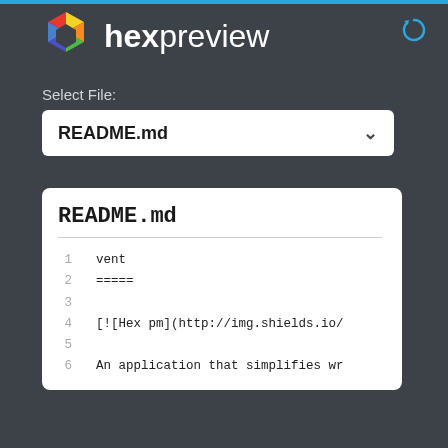hexpreview
Select File:
README.md
README.md
1   vent
2   =====
3
4   [![Hex pm](http://img.shields.io/
5
6   An application that simplifies wr